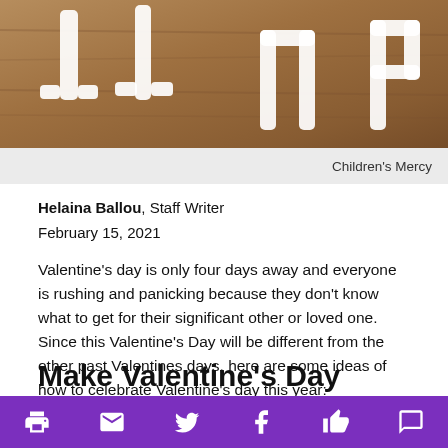[Figure (photo): White letter/number shapes on a wood background, partial view, resembling cookie cutters or foam letters scattered on rustic wooden surface.]
Children's Mercy
Helaina Ballou, Staff Writer
February 15, 2021
Valentine's day is only four days away and everyone is rushing and panicking because they don't know what to get for their significant other or loved one. Since this Valentine's Day will be different from the other past Valentines days, here are some ideas of how to celebrate Valentine's day this year:
Make Valentine's Day cards and drop them off at your loved one's/significant